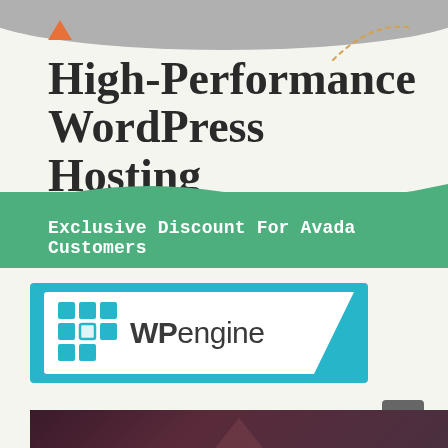[Figure (infographic): High-Performance WordPress Hosting banner with orange triangle, dotted arc decoration, light cream background, purple and blue highlight underlines on title text, and green wave section at bottom with 'Exclusive Discount For Avada Customers' text.]
Exclusive Discount For Avada Customers
[Figure (logo): WP Engine logo: teal grid of squares (3x3 with center cutout) followed by bold 'WP' and light 'engine' wordmark, inside a white panel with diagonal right edge, framed in teal/cyan border.]